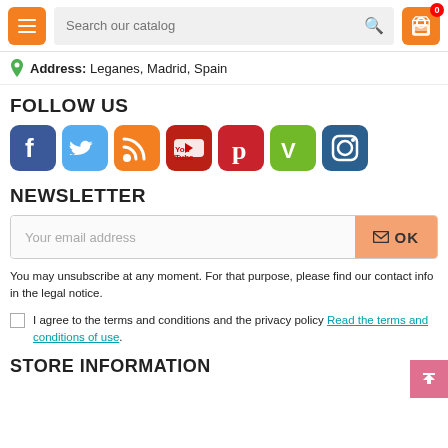Search our catalog
Address: Leganes, Madrid, Spain
FOLLOW US
[Figure (other): Social media icons: Facebook, Twitter, RSS, YouTube, Pinterest, Vimeo, Instagram]
NEWSLETTER
Your email address
You may unsubscribe at any moment. For that purpose, please find our contact info in the legal notice.
I agree to the terms and conditions and the privacy policy Read the terms and conditions of use.
STORE INFORMATION